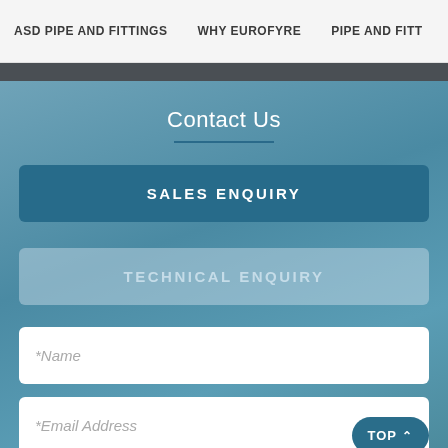ASD PIPE AND FITTINGS    WHY EUROFYRE    PIPE AND FITT
Contact Us
SALES ENQUIRY
TECHNICAL ENQUIRY
*Name
*Email Address
TOP ∧